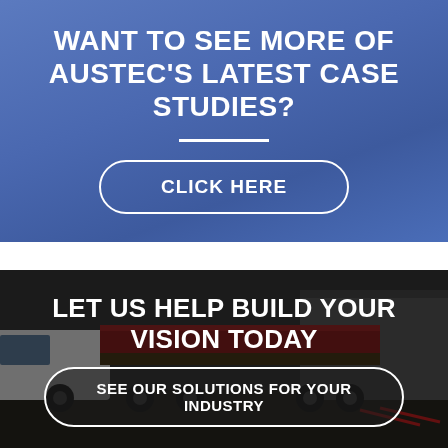WANT TO SEE MORE OF AUSTEC'S LATEST CASE STUDIES?
CLICK HERE
[Figure (photo): Background photo of a truck/flatbed trailer in an industrial yard, with dark overlay. Text overlay reads LET US HELP BUILD YOUR VISION TODAY and a button SEE OUR SOLUTIONS FOR YOUR INDUSTRY.]
LET US HELP BUILD YOUR VISION TODAY
SEE OUR SOLUTIONS FOR YOUR INDUSTRY